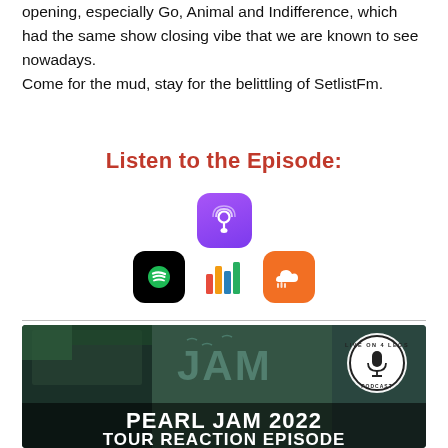opening, especially Go, Animal and Indifference, which had the same show closing vibe that we are known to see nowadays.
Come for the mud, stay for the belittling of SetlistFm.
Listen to the Episode:
[Figure (illustration): Apple Podcasts icon - purple rounded square with microphone graphic]
[Figure (illustration): Spotify icon (black rounded square with green circle and sound waves), colorful bar chart equalizer icon, and SoundCloud icon (orange rounded square with cloud/waveform)]
[Figure (photo): Pearl Jam 2022 Tour Reaction Episode promotional image showing band members performing live with text 'PEARL JAM 2022 TOUR REACTION EPISODE' and a Live on 4 Legs Podcast logo]